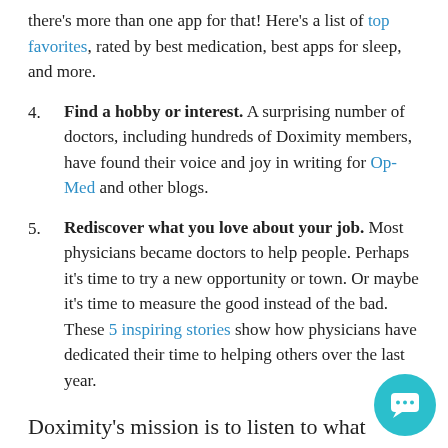there's more than one app for that! Here's a list of top favorites, rated by best medication, best apps for sleep, and more.
4. Find a hobby or interest. A surprising number of doctors, including hundreds of Doximity members, have found their voice and joy in writing for Op-Med and other blogs.
5. Rediscover what you love about your job. Most physicians became doctors to help people. Perhaps it's time to try a new opportunity or town. Or maybe it's time to measure the good instead of the bad. These 5 inspiring stories show how physicians have dedicated their time to helping others over the last year.
Doximity's mission is to listen to what physicians need and then build simple tools to solve complex problems. Doctors enjoy being Doximity members because we've introduced new and